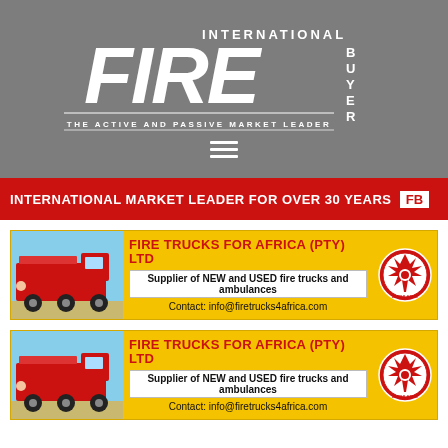[Figure (logo): International Fire Buyer logo on grey background with tagline 'The Active and Passive Market Leader' and hamburger menu icon]
INTERNATIONAL MARKET LEADER FOR OVER 30 YEARS  FB
[Figure (infographic): Fire Trucks for Africa (PTY) LTD advertisement banner. Shows red fire truck photo on left, yellow background with red title text 'FIRE TRUCKS FOR AFRICA (PTY) LTD', subtitle 'Supplier of NEW and USED fire trucks and ambulances', contact 'Contact: info@firetrucks4africa.com', and firefighter emblem logo on right.]
[Figure (infographic): Fire Trucks for Africa (PTY) LTD advertisement banner (duplicate). Shows red fire truck photo on left, yellow background with red title text 'FIRE TRUCKS FOR AFRICA (PTY) LTD', subtitle 'Supplier of NEW and USED fire trucks and ambulances', contact 'Contact: info@firetrucks4africa.com', and firefighter emblem logo on right.]